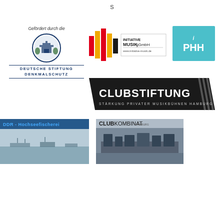S
[Figure (logo): Deutsche Stiftung Denkmalschutz logo with text 'Gefördert durch die' above circular emblem and 'DEUTSCHE STIFTUNG DENKMALSCHUTZ' below]
[Figure (logo): Initiative Musik gGmbH logo with colorful vertical bars and text]
[Figure (logo): iPHH logo in teal/cyan square]
[Figure (logo): Clubstiftung banner - black background with white text 'CLUBSTIFTUNG' and subtitle 'STÄRKUNG PRIVATER MUSIKBÜHNEN HAMBURG']
[Figure (photo): DDR - Hochseefischerei banner with seascape photo and blue text]
[Figure (logo): Clubkombinat logo with photo of music stage equipment]